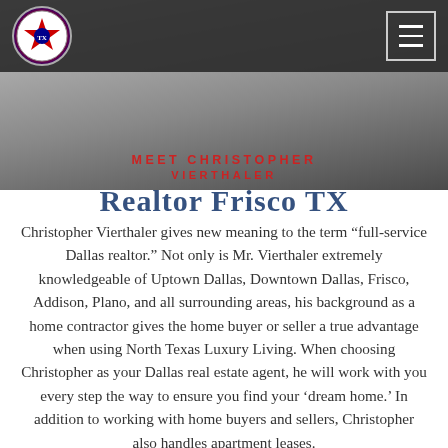[Figure (photo): Header photo of a person in a white dress shirt and dark tie against a dark background, with a dark navigation bar overlay at the top containing a circular Texas realtor logo on the left and a hamburger menu button on the right.]
[Figure (other): Watermark overlay text reading 'MEET CHRISTOPHER VIERTHALER' in red above 'Realtor Frisco TX' in large dark blue serif font]
Christopher Vierthaler gives new meaning to the term “full-service Dallas realtor.” Not only is Mr. Vierthaler extremely knowledgeable of Uptown Dallas, Downtown Dallas, Frisco, Addison, Plano, and all surrounding areas, his background as a home contractor gives the home buyer or seller a true advantage when using North Texas Luxury Living. When choosing Christopher as your Dallas real estate agent, he will work with you every step the way to ensure you find your ‘dream home.’ In addition to working with home buyers and sellers, Christopher also handles apartment leases.